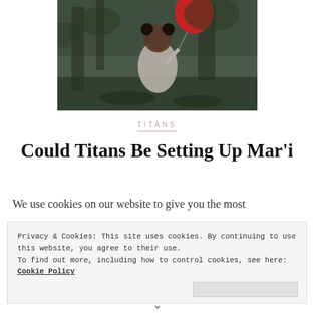[Figure (photo): Black and white photo of a young child holding a red balloon, standing outdoors among trees]
TITANS
Could Titans Be Setting Up Mar'i
We use cookies on our website to give you the most
Privacy & Cookies: This site uses cookies. By continuing to use this website, you agree to their use. To find out more, including how to control cookies, see here: Cookie Policy